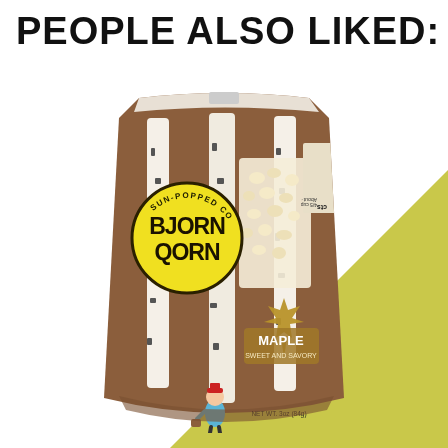PEOPLE ALSO LIKED:
[Figure (photo): Bag of Bjorn Qorn Sun-Popped Corn in Maple (Sweet and Savory) flavor, featuring a brown bag with birch tree illustration and a yellow circular logo, a golden maple leaf graphic, and popcorn visible through a window in the packaging.]